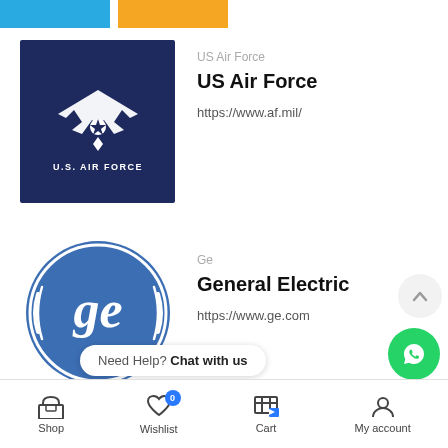[Figure (screenshot): Mobile app screenshot showing a brand/manufacturer listing page with US Air Force and General Electric entries, bottom navigation bar, and WhatsApp chat widget.]
US Air Force
US Air Force
https://www.af.mil/
Ge
General Electric
https://www.ge.com
Need Help? Chat with us
Shop   Wishlist 0   Cart   My account